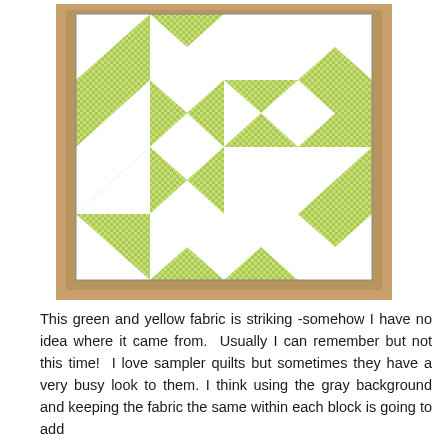[Figure (photo): A quilt block photographed on a tan/beige background. The quilt block features a green and white checkered/grid patterned fabric arranged in a geometric pattern with triangles and squares. The design creates a pinwheel or churn-dash type block with white solid fabric triangles and green grid-patterned fabric squares and triangles.]
This green and yellow fabric is striking -somehow I have no idea where it came from.  Usually I can remember but not this time!  I love sampler quilts but sometimes they have a very busy look to them. I think using the gray background and keeping the fabric the same within each block is going to add